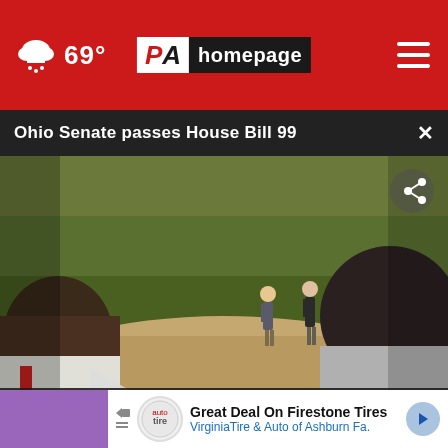PA homepage — 69°
Ohio Senate passes House Bill 99
[Figure (photo): Video thumbnail showing people standing in an outdoor field/park area, viewed from behind two observers in the foreground. A play button triangle is visible on the left side. A share icon is in the upper right corner.]
Madison Ave
Great Deal On Firestone Tires VirginiaTire & Auto of Ashburn Fa.